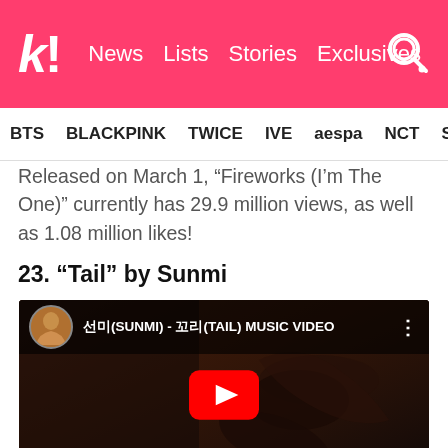k! News Lists Stories Exclusives
BTS BLACKPINK TWICE IVE aespa NCT SEVE
Released on March 1, “Fireworks (I’m The One)” currently has 29.9 million views, as well as 1.08 million likes!
23. “Tail” by Sunmi
[Figure (screenshot): YouTube music video embed thumbnail for 선미(SUNMI) - 꼬리(TAIL) MUSIC VIDEO showing dancers performing on a darkly lit stage, with a red YouTube play button in the center.]